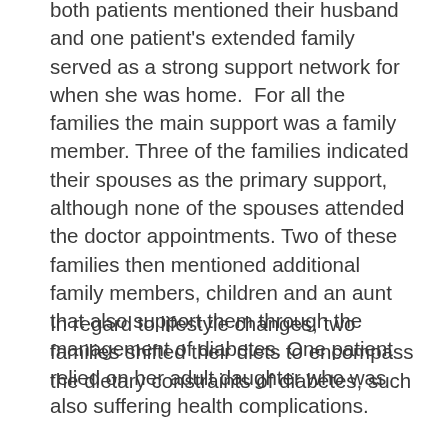both patients mentioned their husband and one patient's extended family served as a strong support network for when she was home.  For all the families the main support was a family member. Three of the families indicated their spouses as the primary support, although none of the spouses attended the doctor appointments. Two of these families then mentioned additional family members, children and an aunt that also support them through the management of diabetes. One patient relied on her adult daughter who was also suffering health complications.
In regard to lifestyle changes, two families shifted their diets to encompass the dietary constraints of diabetes, such